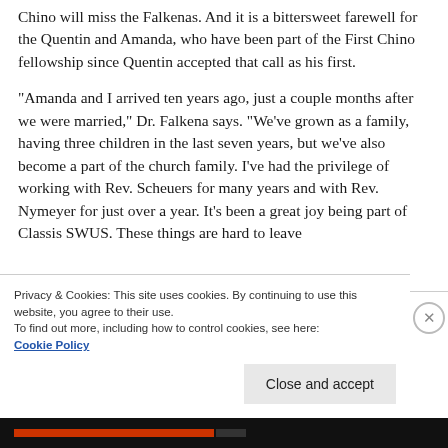Chino will miss the Falkenas. And it is a bittersweet farewell for the Quentin and Amanda, who have been part of the First Chino fellowship since Quentin accepted that call as his first.
“Amanda and I arrived ten years ago, just a couple months after we were married,” Dr. Falkena says. “We’ve grown as a family, having three children in the last seven years, but we’ve also become a part of the church family. I’ve had the privilege of working with Rev. Scheuers for many years and with Rev. Nymeyer for just over a year. It’s been a great joy being part of Classis SWUS. These things are hard to leave
Privacy & Cookies: This site uses cookies. By continuing to use this website, you agree to their use.
To find out more, including how to control cookies, see here:
Cookie Policy
Close and accept